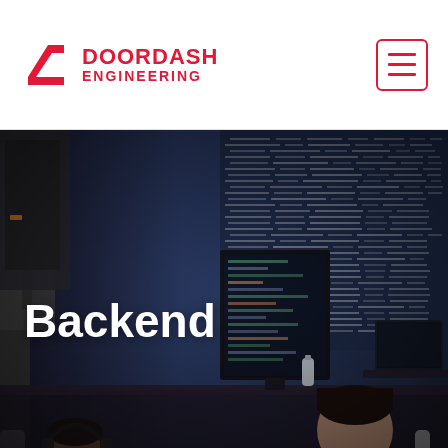[Figure (logo): DoorDash Engineering logo with red chevron arrow and red text reading DOORDASH ENGINEERING]
[Figure (other): Hamburger menu icon — three horizontal red lines inside a red-bordered rounded rectangle]
[Figure (photo): Office workspace photo showing engineers/developers seated at desks with laptops and monitors, with a dark wall covered in white text/code in the background]
Backend